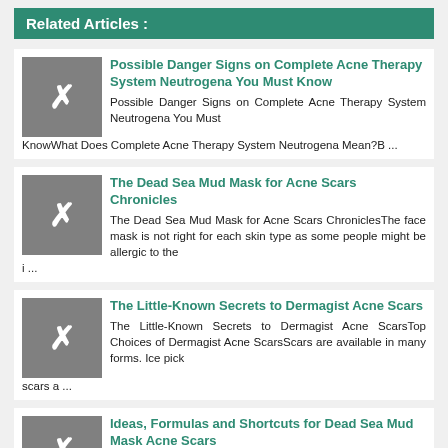Related Articles :
Possible Danger Signs on Complete Acne Therapy System Neutrogena You Must Know
Possible Danger Signs on Complete Acne Therapy System Neutrogena You Must KnowWhat Does Complete Acne Therapy System Neutrogena Mean?B ...
The Dead Sea Mud Mask for Acne Scars Chronicles
The Dead Sea Mud Mask for Acne Scars ChroniclesThe face mask is not right for each skin type as some people might be allergic to the i ...
The Little-Known Secrets to Dermagist Acne Scars
The Little-Known Secrets to Dermagist Acne ScarsTop Choices of Dermagist Acne ScarsScars are available in many forms. Ice pick scars a ...
Ideas, Formulas and Shortcuts for Dead Sea Mud Mask Acne Scars
Ideas, Formulas and Shortcuts for Dead Sea Mud Mask Acne ScarsCucumber mask is the